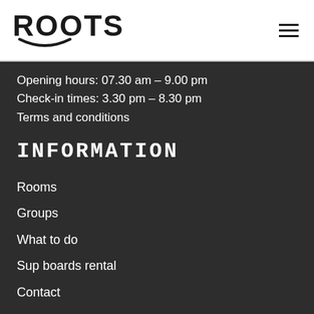ROOTS
Opening hours: 07.30 am – 9.00 pm
Check-in times: 3.30 pm – 8.30 pm
Terms and conditions
INFORMATION
Rooms
Groups
What to do
Sup boards rental
Contact